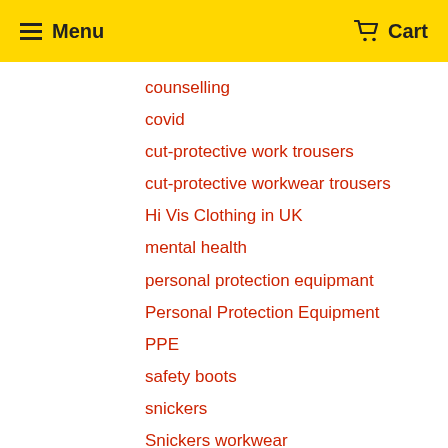Menu  Cart
counselling
covid
cut-protective work trousers
cut-protective workwear trousers
Hi Vis Clothing in UK
mental health
personal protection equipmant
Personal Protection Equipment
PPE
safety boots
snickers
Snickers workwear
trousers for work
whatever it takes